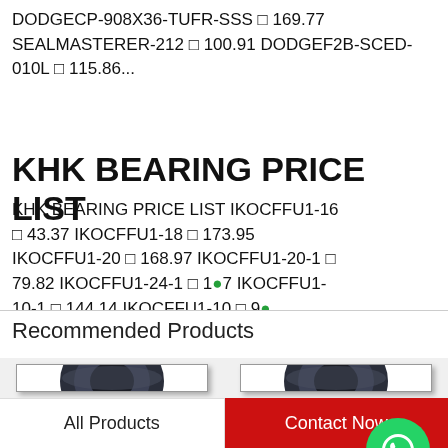DODGECP-908X36-TUFR-SSS ￥ 169.77 SEALMASTERER-212 ￥ 100.91 DODGEF2B-SCED-010L ￥ 115.86...
KHK BEARING PRICE LIST
KHK BEARING PRICE LIST IKOCFFU1-16 ￥ 43.37 IKOCFFU1-18 ￥ 173.95 IKOCFFU1-20 ￥ 168.97 IKOCFFU1-20-1 ￥ 79.82 IKOCFFU1-24-1 ￥ 1... IKOCFFU1-10-1 ￥ 144.14 IKOCFFU1-10 ￥ 9... IKOCFFU1-12 ￥ 17.30...
[Figure (other): WhatsApp Online green circle icon with phone symbol and text 'WhatsApp Online']
Recommended Products
[Figure (photo): Product image of a bearing on left card]
[Figure (photo): Product image of a bearing on right card]
All Products
Contact Now